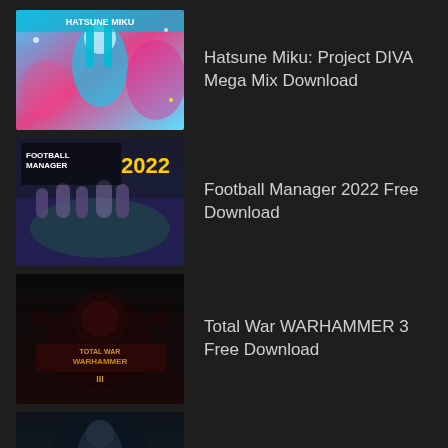[Figure (illustration): Hatsune Miku Project DIVA Mega Mix game cover thumbnail]
Hatsune Miku: Project DIVA Mega Mix Download
[Figure (illustration): Football Manager 2022 game cover thumbnail]
Football Manager 2022 Free Download
[Figure (illustration): Total War WARHAMMER 3 game cover thumbnail]
Total War WARHAMMER 3 Free Download
[Figure (illustration): Thymesia game cover thumbnail]
Thymesia Free Download
Sonic Origins Free Download
Cult of the Lamb Free Download